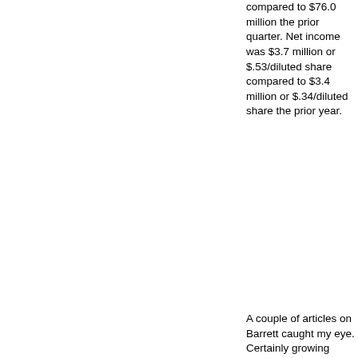compared to $76.0 million the prior quarter. Net income was $3.7 million or $.53/diluted share compared to $3.4 million or $.34/diluted share the prior year.
A couple of articles on Barrett caught my eye. Certainly growing dividends is an